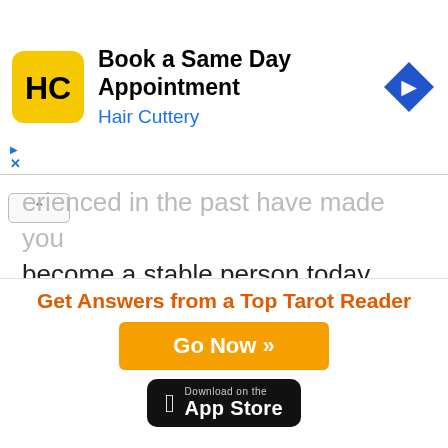[Figure (other): Hair Cuttery ad banner with yellow logo showing HC letters, text 'Book a Same Day Appointment' and 'Hair Cuttery', and a blue diamond navigation arrow icon]
erienced in the past have made you become a stable person today. You have the capacity in reading and evaluating the reaction of people in your surroundings – this somehow smoothes your progress; however, don't expect sustainable ease in everything.
The present
[Figure (other): Bottom ad strip: 'Get Answers from a Top Tarot Reader' in orange, orange 'Go Now »' button, and Download on the App Store black badge]